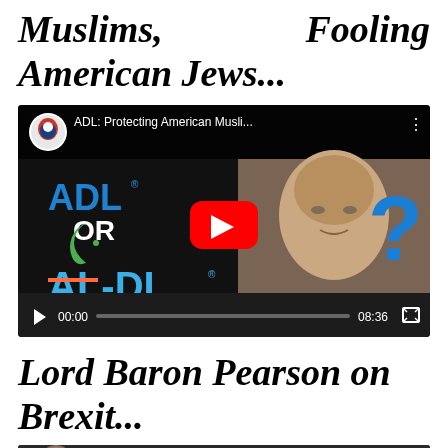Muslims, Fooling American Jews...
[Figure (screenshot): YouTube video thumbnail showing 'ADL: Protecting American Musli...' with play button, showing a man's face alongside text 'ADL OR AL-DL?' with Islamic crescent symbol and blue question mark. Controls show 00:00 / 08:36.]
Lord Baron Pearson on Brexit...
[Figure (screenshot): Bottom of page shows beginning of another video thumbnail with a person visible and text 'BARON PEARSON']